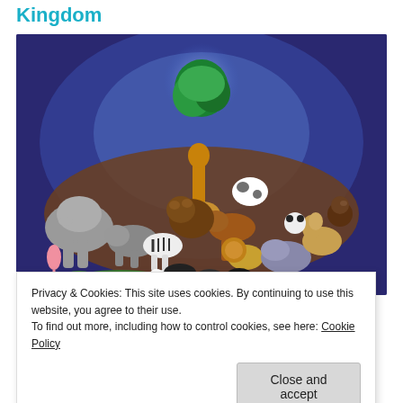Kingdom
[Figure (illustration): A large illustration of many different animals grouped together on a dark blue/purple background, including elephants, giraffes, lions, zebras, bears, horses, monkeys, flamingos, crocodiles, pandas, and many more animals, with a green tree visible at the top center.]
Privacy & Cookies: This site uses cookies. By continuing to use this website, you agree to their use.
To find out more, including how to control cookies, see here: Cookie Policy
Close and accept
water. It was not familiar to me. The whole dream was in a